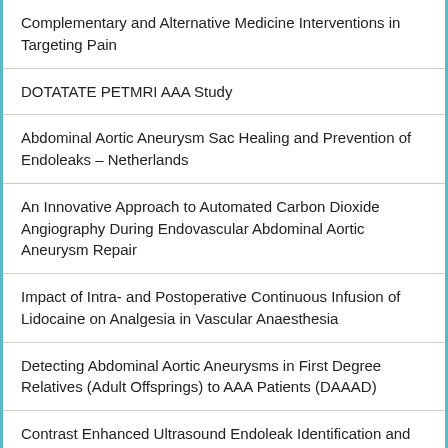Complementary and Alternative Medicine Interventions in Targeting Pain
DOTATATE PETMRI AAA Study
Abdominal Aortic Aneurysm Sac Healing and Prevention of Endoleaks – Netherlands
An Innovative Approach to Automated Carbon Dioxide Angiography During Endovascular Abdominal Aortic Aneurysm Repair
Impact of Intra- and Postoperative Continuous Infusion of Lidocaine on Analgesia in Vascular Anaesthesia
Detecting Abdominal Aortic Aneurysms in First Degree Relatives (Adult Offsprings) to AAA Patients (DAAAD)
Contrast Enhanced Ultrasound Endoleak Identification and Classification
CCR2 AAA Pilot Study